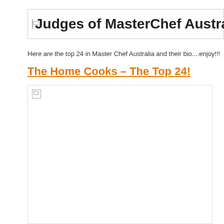Judges of MasterChef Austral…
Here are the top 24 in Master Chef Australia and their bio....enjoy!!!
The Home Cooks – The Top 24!
[Figure (photo): Broken/missing image placeholder inside a bordered box]